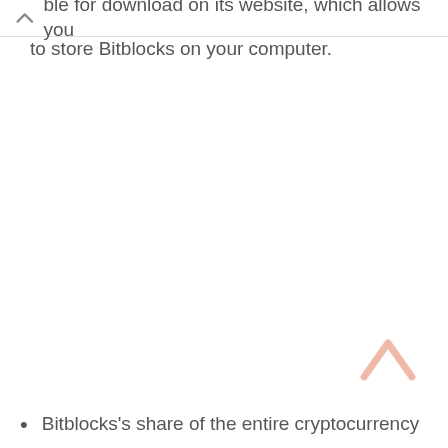ble for download on its website, which allows you to store Bitblocks on your computer.
Bitblocks's share of the entire cryptocurrency